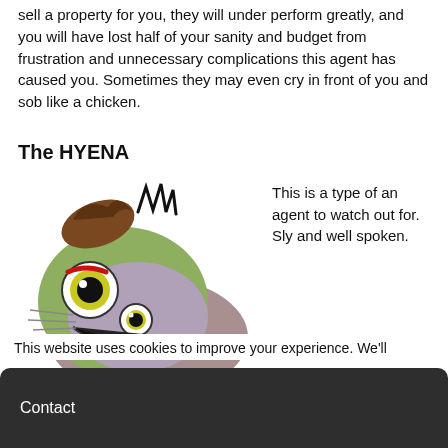sell a property for you, they will under perform greatly, and you will have lost half of your sanity and budget from frustration and unnecessary complications this agent has caused you. Sometimes they may even cry in front of you and sob like a chicken.
The HYENA
[Figure (illustration): A cartoon illustration of a hyena character with wide googly eyes, open mouth showing teeth, greenish face, brown hair tuft on top, against a grey/purple body background.]
This is a type of an agent to watch out for. Sly and well spoken.
This website uses cookies to improve your experience. We'll
Contact